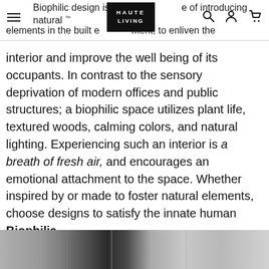Biophilic design is the practice of introducing natural elements in the built environment, to enliven the
interior and improve the well being of its occupants. In contrast to the sensory deprivation of modern offices and public structures; a biophilic space utilizes plant life, textured woods, calming colors, and natural lighting. Experiencing such an interior is a breath of fresh air, and encourages an emotional attachment to the space. Whether inspired by or made to foster natural elements, choose designs to satisfy the innate human Biophilia.
[Figure (photo): Bottom strip showing interior material samples or room photograph in grayscale tones]